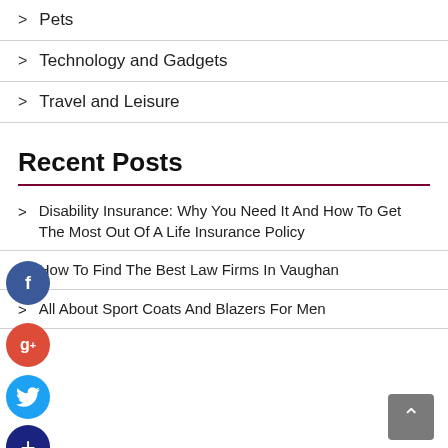> Pets
> Technology and Gadgets
> Travel and Leisure
Recent Posts
> Disability Insurance: Why You Need It And How To Get The Most Out Of A Life Insurance Policy
> How To Find The Best Law Firms In Vaughan
> All About Sport Coats And Blazers For Men